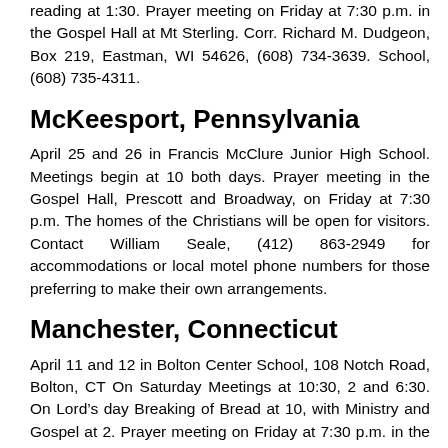reading at 1:30. Prayer meeting on Friday at 7:30 p.m. in the Gospel Hall at Mt Sterling. Corr. Richard M. Dudgeon, Box 219, Eastman, WI 54626, (608) 734-3639. School, (608) 735-4311.
McKeesport, Pennsylvania
April 25 and 26 in Francis McClure Junior High School. Meetings begin at 10 both days. Prayer meeting in the Gospel Hall, Prescott and Broadway, on Friday at 7:30 p.m. The homes of the Christians will be open for visitors. Contact William Seale, (412) 863-2949 for accommodations or local motel phone numbers for those preferring to make their own arrangements.
Manchester, Connecticut
April 11 and 12 in Bolton Center School, 108 Notch Road, Bolton, CT On Saturday Meetings at 10:30, 2 and 6:30. On Lord’s day Breaking of Bread at 10, with Ministry and Gospel at 2. Prayer meeting on Friday at 7:30 p.m. in the Gospel Hall, 415 Center Street, Manchester. Corr. Richard Trombly, 121 Cushman Dr., Manchester, CT, 06040, (860) 649-9462. Accommodations, call Ted Kaulback, (860) 742-